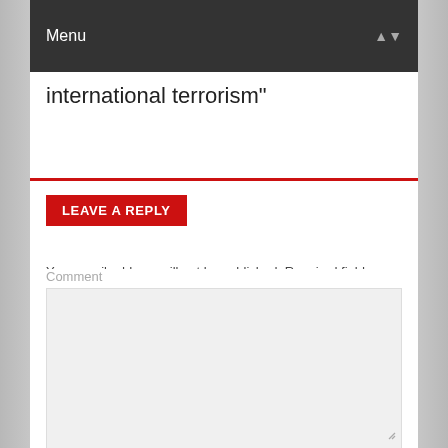Menu
international terrorism"
LEAVE A REPLY
Your email address will not be published. Required fields are marked *
Comment
Name *
Email *
Website